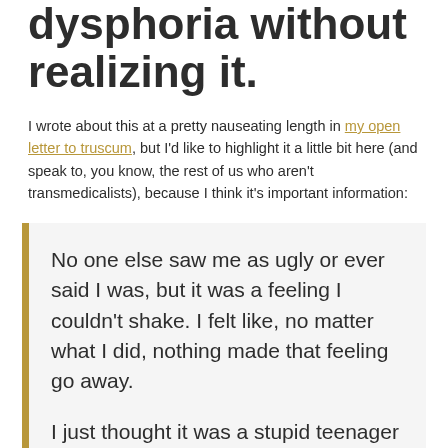dysphoria without realizing it.
I wrote about this at a pretty nauseating length in my open letter to truscum, but I'd like to highlight it a little bit here (and speak to, you know, the rest of us who aren't transmedicalists), because I think it's important information:
No one else saw me as ugly or ever said I was, but it was a feeling I couldn't shake. I felt like, no matter what I did, nothing made that feeling go away.

I just thought it was a stupid teenager thing. Except that